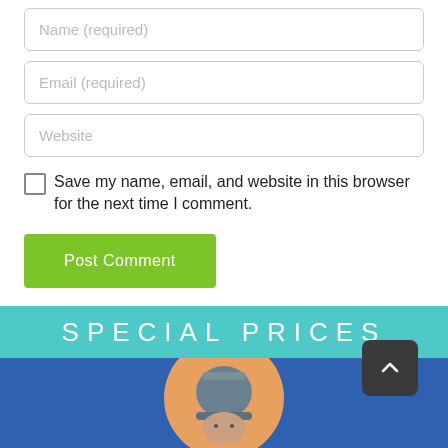Name (required)
Email (required)
Website
Save my name, email, and website in this browser for the next time I comment.
Post Comment
[Figure (photo): Promotional banner with 'SPECIAL PRICES' text on a teal background, with a blue lower section showing an orange circle and person wearing a grey knit hat. A dark back-to-top button with a caret/chevron icon is overlaid.]